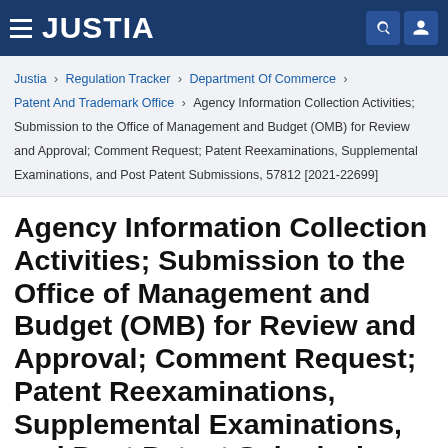JUSTIA
Justia › Regulation Tracker › Department Of Commerce › Patent And Trademark Office › Agency Information Collection Activities; Submission to the Office of Management and Budget (OMB) for Review and Approval; Comment Request; Patent Reexaminations, Supplemental Examinations, and Post Patent Submissions, 57812 [2021-22699]
Agency Information Collection Activities; Submission to the Office of Management and Budget (OMB) for Review and Approval; Comment Request; Patent Reexaminations, Supplemental Examinations, and Post Patent Submissions, 57812 [2021-22699]